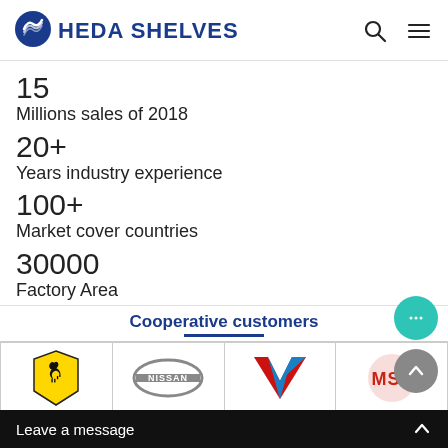HEDA SHELVES
15
Millions sales of 2018
20+
Years industry experience
100+
Market cover countries
30000
Factory Area
Cooperative customers
[Figure (logo): Ferrari prancing horse logo]
[Figure (logo): Nissan logo]
[Figure (logo): Valvoline V logo in red and blue]
[Figure (logo): MST logo in red]